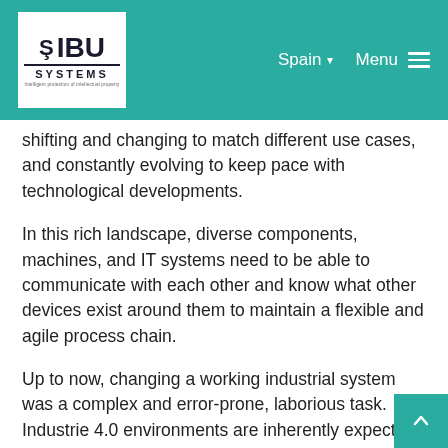WIBU SYSTEMS | Spain | Menu
shifting and changing to match different use cases, and constantly evolving to keep pace with technological developments.
In this rich landscape, diverse components, machines, and IT systems need to be able to communicate with each other and know what other devices exist around them to maintain a flexible and agile process chain.
Up to now, changing a working industrial system was a complex and error-prone, laborious task. Industrie 4.0 environments are inherently expected to accommodate new features and capabilities, both hardware and software-realized, to respond to changing business needs, product specifications, or customers' requests. What has long been a reality for PC users – simply connecting plug-and-play-enabled devices by USB or similar technologies